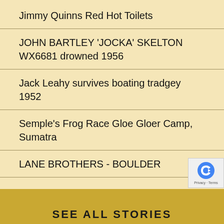Jimmy Quinns Red Hot Toilets
JOHN BARTLEY 'JOCKA' SKELTON WX6681 drowned 1956
Jack Leahy survives boating tradgey 1952
Semple's Frog Race Gloe Gloer Camp, Sumatra
LANE BROTHERS - BOULDER
SEE ALL STORIES